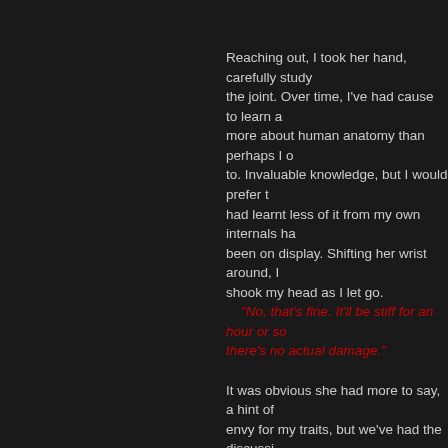Reaching out, I took her hand, carefully studying the joint. Over time, I've had cause to learn a more about human anatomy than perhaps I ought to. Invaluable knowledge, but I would prefer to had learnt less of it from my own internals have been on display. Shifting her wrist around, I shook my head as I let go.
    "No, that's fine. It'll be stiff for an hour or so, there's no actual damage."

It was obvious she had more to say, a hint of envy for my traits, but we've had the discussion about my mutation and its social drawbacks many times, and she'd be no more able to get her head around it this time than the last. Such things plague my conscience somewhat, while it's refreshing to talk with someone who doesn't quite how much of a stigma blood red eyes, mottled skin and a tail is, it is also unfortunately a sign that she's been deprived of contact with normal society for her entire life. not sure that's really fair on her.

It was this side of my mind that supplied what said next.